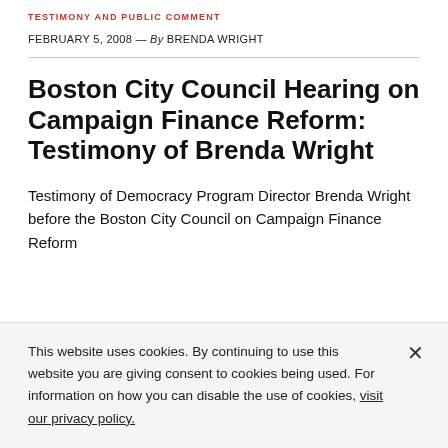TESTIMONY AND PUBLIC COMMENT
FEBRUARY 5, 2008 — By BRENDA WRIGHT
Boston City Council Hearing on Campaign Finance Reform: Testimony of Brenda Wright
Testimony of Democracy Program Director Brenda Wright before the Boston City Council on Campaign Finance Reform
This website uses cookies. By continuing to use this website you are giving consent to cookies being used. For information on how you can disable the use of cookies, visit our privacy policy.